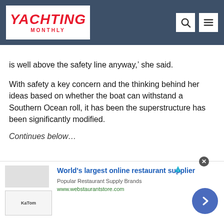Yachting Monthly
is well above the safety line anyway,' she said.
With safety a key concern and the thinking behind her ideas based on whether the boat can withstand a Southern Ocean roll, it has been the superstructure has been significantly modified.
Continues below…
[Figure (other): Advertisement: World's largest online restaurant supplier - webstaurantstore.com]